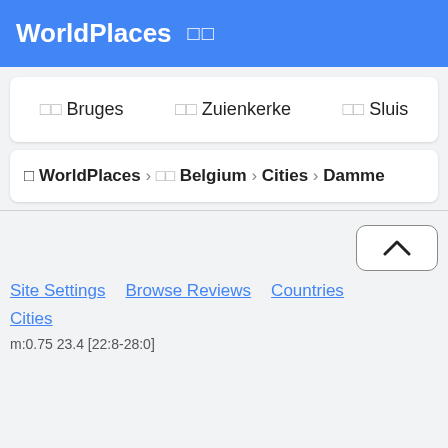WorldPlaces □□
□□ Bruges   □□ Zuienkerke   □□ Sluis
□ WorldPlaces › □□ Belgium › Cities › Damme
[Figure (other): Back to top button with upward chevron arrow]
Site Settings   Browse Reviews   Countries
Cities
m:0.75 23.4 [22:8-28:0]